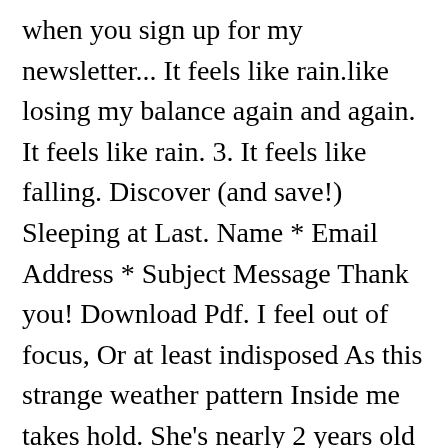when you sign up for my newsletter... It feels like rain.like losing my balance again and again. It feels like rain. 3. It feels like falling. Discover (and save!) Sleeping at Last. Name * Email Address * Subject Message Thank you! Download Pdf. I feel out of focus, Or at least indisposed As this strange weather pattern Inside me takes hold. She's nearly 2 years old and is starting to understand emotion in films and tv. Again and again. But at the foot of this mountain, I only see clouds. Sleeping At Last - Sorrow (Letras y canción para escuchar) - It feels like falling / It feels like rain / Like losing my balance / Again and again / It once was so easy / Breathe in. Am. I genuinely dislike conflict. It feels like falling. Lyrics. Again and